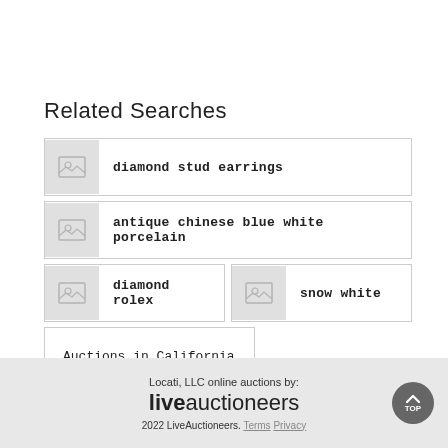Related Searches
diamond stud earrings
antique chinese blue white porcelain
diamond rolex
snow white
Auctions in California
Locati, LLC online auctions by: liveauctioneers 2022 LiveAuctioneers. Terms Privacy